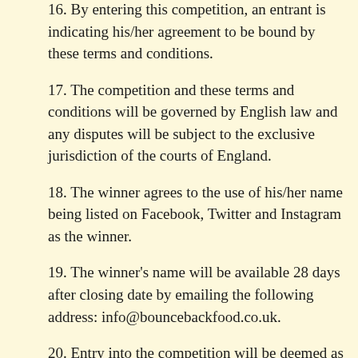16. By entering this competition, an entrant is indicating his/her agreement to be bound by these terms and conditions.
17. The competition and these terms and conditions will be governed by English law and any disputes will be subject to the exclusive jurisdiction of the courts of England.
18. The winner agrees to the use of his/her name being listed on Facebook, Twitter and Instagram as the winner.
19. The winner's name will be available 28 days after closing date by emailing the following address: info@bouncebackfood.co.uk.
20. Entry into the competition will be deemed as acceptance of these terms and conditions.
21. The winner must let us know which course